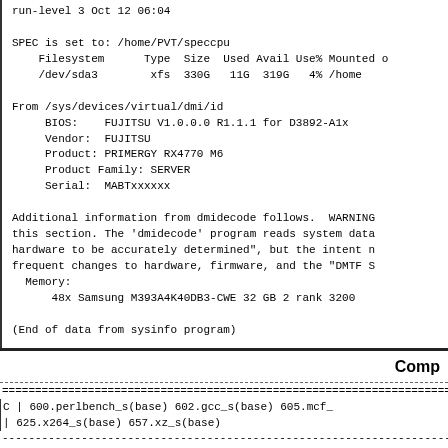run-level 3 Oct 12 06:04

SPEC is set to: /home/PVT/speccpu
    Filesystem      Type  Size  Used Avail Use% Mounted o
    /dev/sda3        xfs  330G   11G  319G   4% /home

From /sys/devices/virtual/dmi/id
     BIOS:    FUJITSU V1.0.0.0 R1.1.1 for D3892-A1x
     Vendor:  FUJITSU
     Product: PRIMERGY RX4770 M6
     Product Family: SERVER
     Serial:  MABTxxxxxx

Additional information from dmidecode follows.  WARNING
this section. The 'dmidecode' program reads system data
hardware to be accurately determined", but the intent n
frequent changes to hardware, firmware, and the "DMTF S
  Memory:
      48x Samsung M393A4K40DB3-CWE 32 GB 2 rank 3200

(End of data from sysinfo program)
Comp
================================================================================
C       | 600.perlbench_s(base) 602.gcc_s(base) 605.mcf_
        | 625.x264_s(base) 657.xz_s(base)
--------------------------------------------------------------------------------